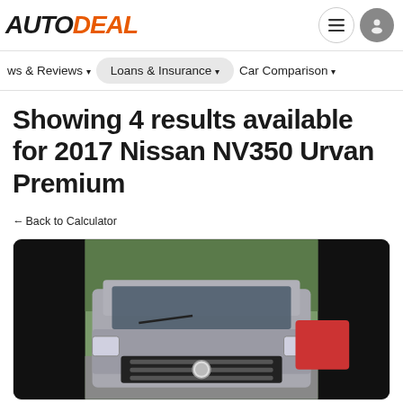AUTODEAL — navigation header with menu and user icons
ws & Reviews ▾   Loans & Insurance ▾   Car Comparison ▾
Showing 4 results available for 2017 Nissan NV350 Urvan Premium
← Back to Calculator
[Figure (photo): Front view of a silver 2017 Nissan NV350 Urvan van photographed outdoors, with trees visible in background. The image has black bars on left and right sides.]